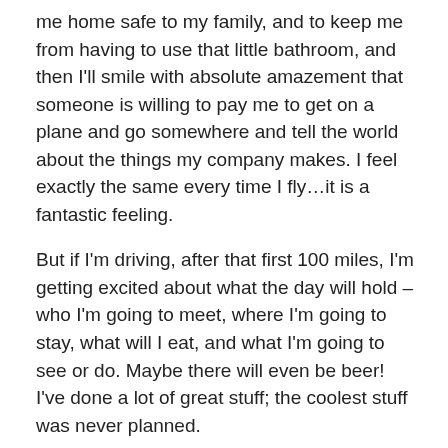me home safe to my family, and to keep me from having to use that little bathroom, and then I'll smile with absolute amazement that someone is willing to pay me to get on a plane and go somewhere and tell the world about the things my company makes. I feel exactly the same every time I fly…it is a fantastic feeling.
But if I'm driving, after that first 100 miles, I'm getting excited about what the day will hold – who I'm going to meet, where I'm going to stay, what will I eat, and what I'm going to see or do. Maybe there will even be beer! I've done a lot of great stuff; the coolest stuff was never planned.
I have sung on stage at Tootsie's Orchid Lounge in Nashville – on my 50th birthday. A couple of weeks ago I went on a helicopter ride over the city of Detroit.  I've